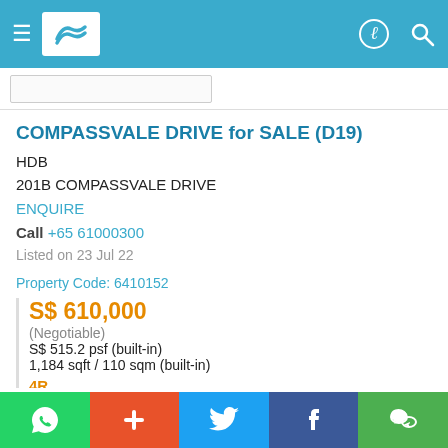Navigation header with hamburger menu, logo, profile and search icons
COMPASSVALE DRIVE for SALE (D19)
HDB
201B COMPASSVALE DRIVE
ENQUIRE
Call +65 61000300
Listed on 23 Jul 22
Property Code: 6410152
S$ 610,000
(Negotiable)
S$ 515.2 psf (built-in)
1,184 sqft / 110 sqm (built-in)
4R
Shortlist  Call
WhatsApp + Twitter Facebook WeChat